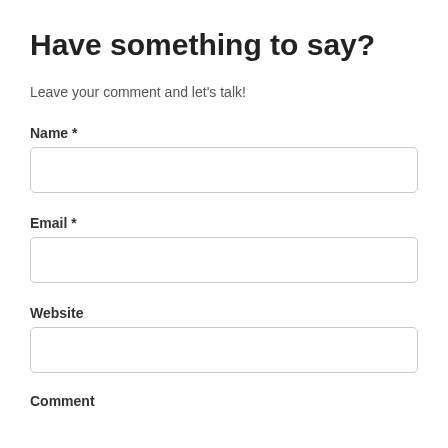Have something to say?
Leave your comment and let's talk!
Name *
[Figure (other): Text input field for Name]
Email *
[Figure (other): Text input field for Email]
Website
[Figure (other): Text input field for Website]
Comment